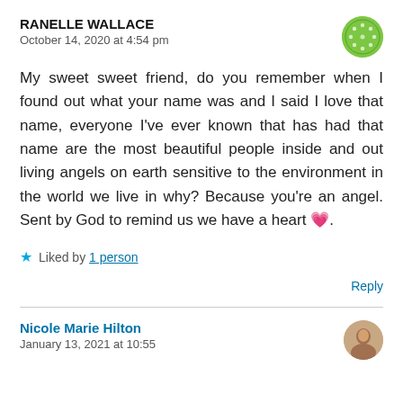RANELLE WALLACE
October 14, 2020 at 4:54 pm
[Figure (illustration): Green circular avatar/icon with decorative dot pattern]
My sweet sweet friend, do you remember when I found out what your name was and I said I love that name, everyone I’ve ever known that has had that name are the most beautiful people inside and out living angels on earth sensitive to the environment in the world we live in why? Because you’re an angel. Sent by God to remind us we have a heart 💗.
★ Liked by 1 person
Reply
Nicole Marie Hilton
[Figure (photo): Small circular profile photo of a person]
January 13, 2021 at 10:55